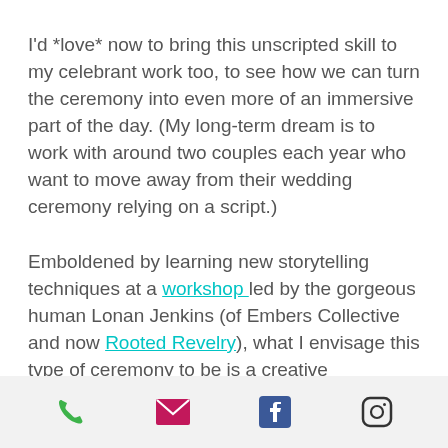I'd *love* now to bring this unscripted skill to my celebrant work too, to see how we can turn the ceremony into even more of an immersive part of the day. (My long-term dream is to work with around two couples each year who want to move away from their wedding ceremony relying on a script.)
Emboldened by learning new storytelling techniques at a workshop led by the gorgeous human Lonan Jenkins (of Embers Collective and now Rooted Revelry), what I envisage this type of ceremony to be is a creative...
[phone] [email] [facebook] [instagram]